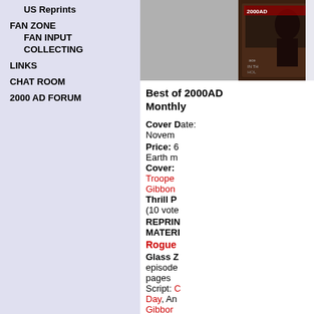US Reprints
FAN ZONE
FAN INPUT
COLLECTING
LINKS
CHAT ROOM
2000 AD FORUM
Best of 2000AD Monthly (dropdown)
GOTO NUMBER (button with input)
[Figure (photo): Cover image of Best of 2000AD Monthly, partially visible, showing a character in sci-fi setting]
Best of 2000AD Monthly
Cover Date: November
Price: 6 Earth m
Cover: Troopers, Gibbons, Thrill P (10 votes)
REPRINT MATERIAL
Rogue
Glass Z episodes pages Script: Day, An Gibbons